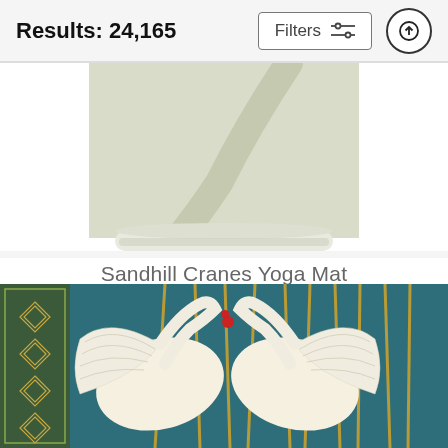Results: 24,165
Filters
[Figure (photo): Partial view of a yoga mat showing the bottom of a crane illustration on a light sage/cream background, rolled at the bottom edge]
Sandhill Cranes Yoga Mat
James W Johnson
$61 (strikethrough original price)
$49
[Figure (photo): Art nouveau style illustration of two white swans with spread wings facing each other symmetrically, set against a teal background with golden reeds, with a decorative geometric border on the left side]